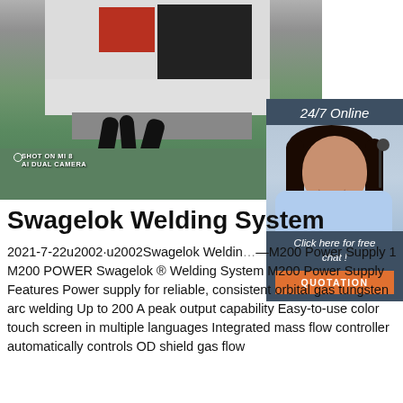[Figure (photo): Photo of a Swagelok welding machine/power supply unit in an industrial setting, shot on MI 8 AI Dual Camera. The machine has a dark control panel screen and red interface. Black cables visible. Green floor. A 24/7 Online customer service agent overlay in the top-right showing a smiling woman with headset, with a dark blue panel containing 'Click here for free chat!' text and an orange QUOTATION button.]
Swagelok Welding System
2021-7-22u2002·u2002Swagelok Welding—M200 Power Supply 1 M200 POWER Swagelok ® Welding System M200 Power Supply Features Power supply for reliable, consistent orbital gas tungsten arc welding Up to 200 A peak output capability Easy-to-use color touch screen in multiple languages Integrated mass flow controller automatically controls OD shield gas flow